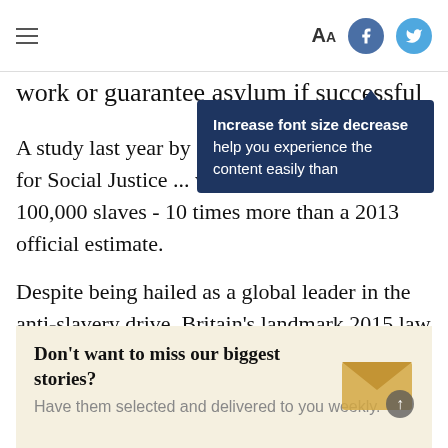work or guarantee asylum if successful
A study last year by charity Ju... The Center for Social Justice ... was home to at least 100,000 slaves - 10 times more than a 2013 official estimate.
Despite being hailed as a global leader in the anti-slavery drive, Britain's landmark 2015 law has faced widespread criticism that it is not being used fully to jail traffickers, drive companies to tackle forced labor, or help enough victims.
[Figure (infographic): Newsletter signup box: 'Don't want to miss our biggest stories? Have them selected and delivered to you weekly.' with envelope icon and arrow.]